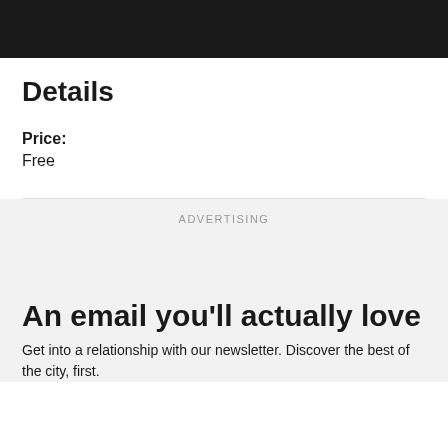Details
Price:
Free
ADVERTISING
An email you'll actually love
Get into a relationship with our newsletter. Discover the best of the city, first.